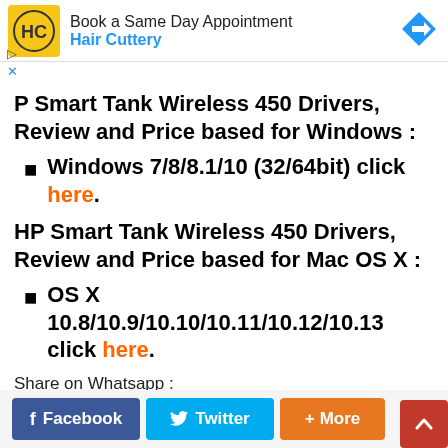[Figure (illustration): Hair Cuttery advertisement banner with yellow HC logo, text 'Book a Same Day Appointment' and 'Hair Cuttery' in blue, and a blue navigation arrow icon on the right]
P Smart Tank Wireless 450 Drivers, Review and Price based for Windows :
Windows 7/8/8.1/10 (32/64bit) click here.
HP Smart Tank Wireless 450 Drivers, Review and Price based for Mac OS X :
OS X 10.8/10.9/10.10/10.11/10.12/10.13 click here.
Share on Whatsapp :
[Figure (screenshot): Social share buttons: Facebook (blue), Twitter (cyan), More (orange), and a red scroll-to-top arrow button]